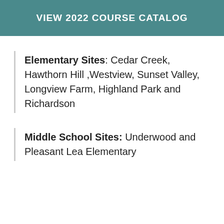VIEW 2022 COURSE CATALOG
Elementary Sites: Cedar Creek, Hawthorn Hill ,Westview, Sunset Valley, Longview Farm, Highland Park and Richardson
Middle School Sites: Underwood and Pleasant Lea Elementary